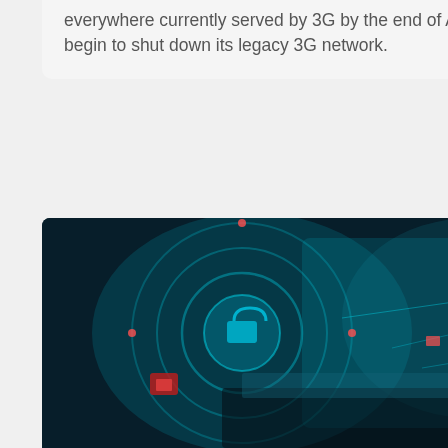everywhere currently served by 3G by the end of August 2024, at which point it will begin to shut down its legacy 3G network.
[Figure (photo): Hands typing on a laptop with glowing cybersecurity holographic overlay showing padlock icons, cloud symbols, and network connection graphics in teal and blue tones]
REMOTE WORKING
Nasuni launches Access Anywhere for hybrid working
Nasuni has launched Nasuni Access Anywhere, providing a new and secure file solution for hybrid and